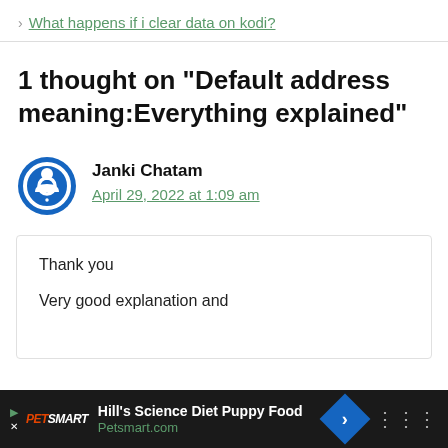> What happens if i clear data on kodi?
1 thought on “Default address meaning:Everything explained”
Janki Chatam
April 29, 2022 at 1:09 am
Thank you

Very good explanation and
Hill's Science Diet Puppy Food Petsmart.com